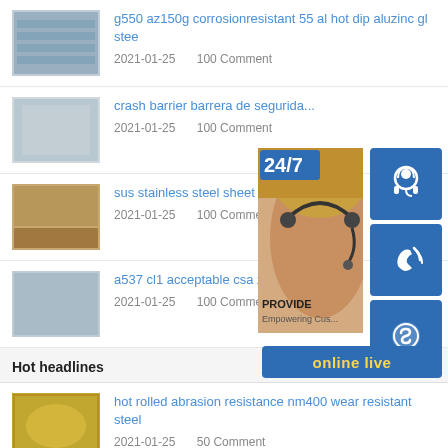g550 az150g corrosionresistant 55 al hot dip aluzinc gl stee | 2021-01-25 | 100 Comment
crash barrier barrera de segurida... | 2021-01-25 | 100 Comment
sus stainless steel sheet 430 310... | 2021-01-25 | 100 Comment
a537 cl1 acceptable csa z662 ca... | 2021-01-25 | 100 Comment
[Figure (infographic): Customer service overlay widget showing 24/7 label, support agent photo, headset/phone icon, Skype icon, and 'online live' button]
Hot headlines
hot rolled abrasion resistance nm400 wear resistant steel | 2021-01-25 | 50 Comment